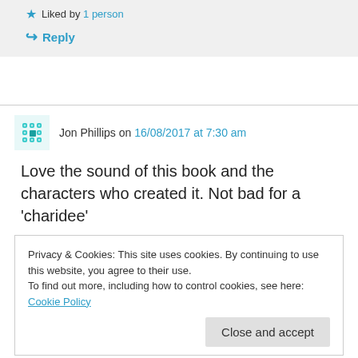★ Liked by 1 person
↪ Reply
Jon Phillips on 16/08/2017 at 7:30 am
Love the sound of this book and the characters who created it. Not bad for a 'charidee'
Privacy & Cookies: This site uses cookies. By continuing to use this website, you agree to their use.
To find out more, including how to control cookies, see here: Cookie Policy
Close and accept
★ Liked by 1 person